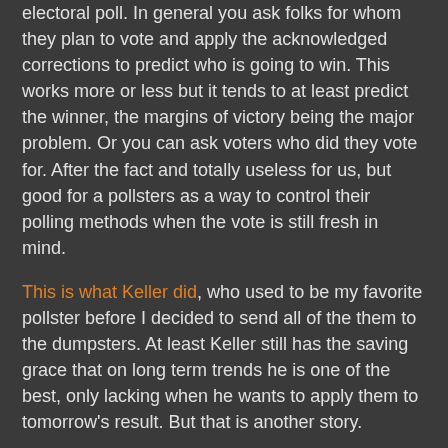electoral poll. In general you ask folks for whom they plan to vote and apply the acknowledged corrections to predict who is going to win. This works more or less but it tends to at least predict the winner, the margins of victory being the major problem. Or you can ask voters who did they vote for. After the fact and totally useless for us, but good for a pollsters as a way to control their polling methods when the vote is still fresh in mind.
This is what Keller did, who used to be my favorite pollster before I decided to send all of the them to the dumpsters. At least Keller still has the saving grace that on long term trends he is one of the best, only lacking when he wants to apply them to tomorrow's result. But that is another story.
What Keller did was to ask who they voted for after last April when results allegedly were 51% Maduro 49% Capriles and which Capriles does not recognize. In May folks answered 40% Maduro and 45% Capriles. Keller folks, surprised, thought they made a mistake in the methodology for that question and asked again in August. They got 40% Maduro